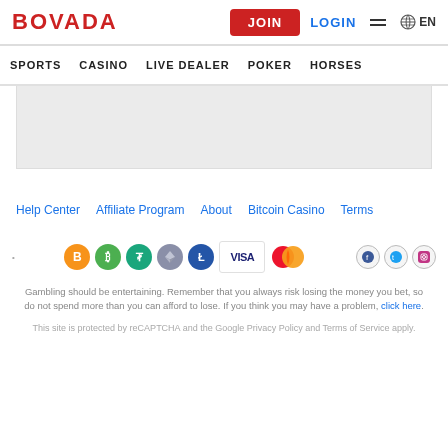BOVADA | JOIN | LOGIN | EN
SPORTS | CASINO | LIVE DEALER | POKER | HORSES
[Figure (screenshot): Gray content area placeholder]
Help Center | Affiliate Program | About | Bitcoin Casino | Terms
[Figure (infographic): Payment method icons: Bitcoin, Bitcoin Cash, Tether, Ethereum, Litecoin, Visa, Mastercard; Social icons: Facebook, Twitter, Instagram]
Gambling should be entertaining. Remember that you always risk losing the money you bet, so do not spend more than you can afford to lose. If you think you may have a problem, click here.
This site is protected by reCAPTCHA and the Google Privacy Policy and Terms of Service apply.